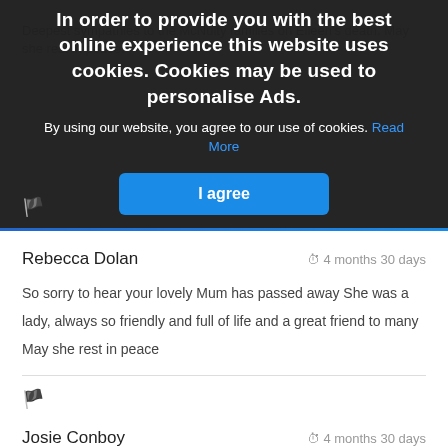[Figure (screenshot): Cookie consent overlay dialog on a dark semi-transparent background with headline, subtext, and 'I agree' button]
Rebecca Dolan — 4 months 30 days — So sorry to hear your lovely Mum has passed away She was a lady, always so friendly and full of life and a great friend to many May she rest in peace
Josie Conboy — 4 months 30 days